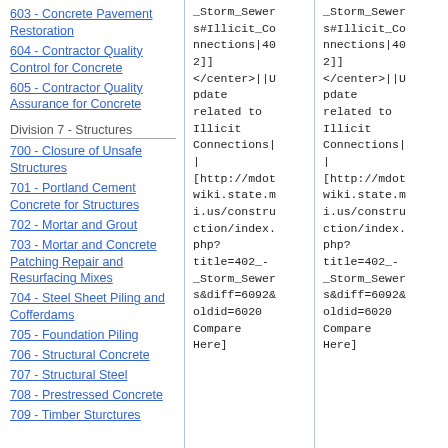603 - Concrete Pavement Restoration
604 - Contractor Quality Control for Concrete
605 - Contractor Quality Assurance for Concrete
Division 7 - Structures
700 - Closure of Unsafe Structures
701 - Portland Cement Concrete for Structures
702 - Mortar and Grout
703 - Mortar and Concrete Patching Repair and Resurfacing Mixes
704 - Steel Sheet Piling and Cofferdams
705 - Foundation Piling
706 - Structural Concrete
707 - Structural Steel
708 - Prestressed Concrete
709 - Timber Sturctures
_Storm_Sewers#Illicit_Connections|402]]
</center>||Update related to Illicit Connections||
[http://mdotwiki.state.mi.us/construction/index.php?title=402_-_Storm_Sewers&diff=6092&oldid=6020 Compare Here]
_Storm_Sewers#Illicit_Connections|402]]
</center>||Update related to Illicit Connections||
[http://mdotwiki.state.mi.us/construction/index.php?title=402_-_Storm_Sewers&diff=6092&oldid=6020 Compare Here]